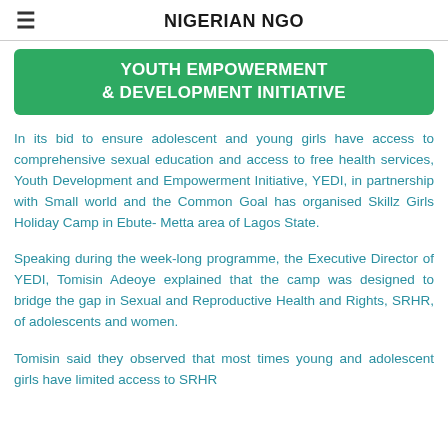NIGERIAN NGO
[Figure (illustration): Green rounded rectangle banner with white bold text: YOUTH EMPOWERMENT & DEVELOPMENT INITIATIVE]
In its bid to ensure adolescent and young girls have access to comprehensive sexual education and access to free health services, Youth Development and Empowerment Initiative, YEDI, in partnership with Small world and the Common Goal has organised Skillz Girls Holiday Camp in Ebute- Metta area of Lagos State.
Speaking during the week-long programme, the Executive Director of YEDI, Tomisin Adeoye explained that the camp was designed to bridge the gap in Sexual and Reproductive Health and Rights, SRHR, of adolescents and women.
Tomisin said they observed that most times young and adolescent girls have limited access to SRHR